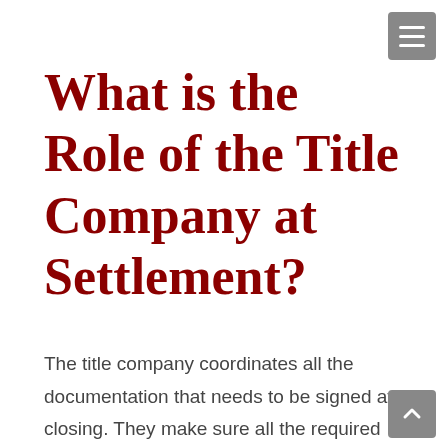What is the Role of the Title Company at Settlement?
The title company coordinates all the documentation that needs to be signed at closing. They make sure all the required items shown on the Title Insurance Commitment have been taken care of. They sit at the table with you and explain to you the documents you will be signing and answer any questions you may have. They are also responsible